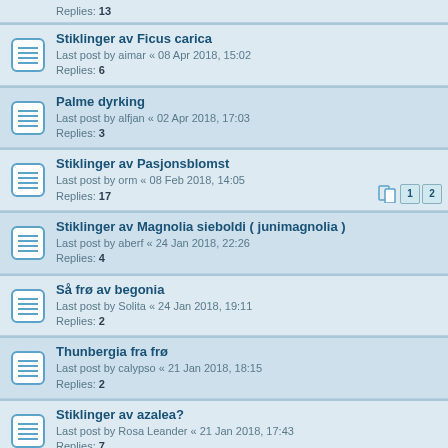Replies: 13
Stiklinger av Ficus carica
Last post by aimar « 08 Apr 2018, 15:02
Replies: 6
Palme dyrking
Last post by alfjan « 02 Apr 2018, 17:03
Replies: 3
Stiklinger av Pasjonsblomst
Last post by orm « 08 Feb 2018, 14:05
Replies: 17
Stiklinger av Magnolia sieboldi ( junimagnolia )
Last post by aberf « 24 Jan 2018, 22:26
Replies: 4
Så frø av begonia
Last post by Solita « 24 Jan 2018, 19:11
Replies: 2
Thunbergia fra frø
Last post by calypso « 21 Jan 2018, 18:15
Replies: 2
Stiklinger av azalea?
Last post by Rosa Leander « 21 Jan 2018, 17:43
Replies: 7
Sago palme
Last post by alfjan « 11 Nov 2017, 17:53
Replies: 5
Så frø av Inula
Last post by Siri K « 26 Oct 2017, 16:26